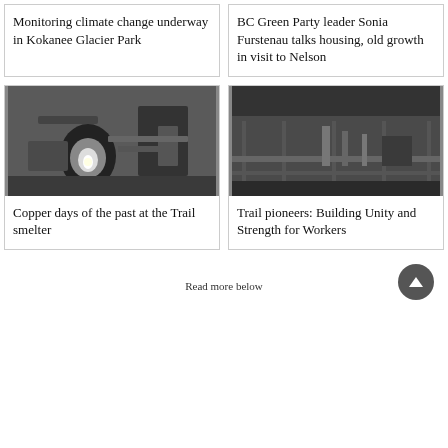Monitoring climate change underway in Kokanee Glacier Park
BC Green Party leader Sonia Furstenau talks housing, old growth in visit to Nelson
[Figure (photo): Black and white industrial photo of a glowing molten metal pour at a smelter facility with large machinery]
Copper days of the past at the Trail smelter
[Figure (photo): Black and white historical photo of workers inside the Trail smelter facility with industrial equipment and a long corridor]
Trail pioneers: Building Unity and Strength for Workers
Read more below